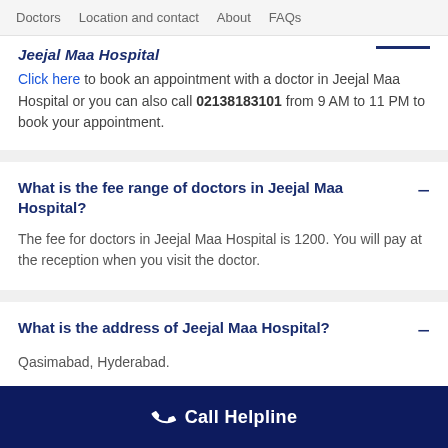Doctors  Location and contact  About  FAQs
Jeejal Maa Hospital
Click here to book an appointment with a doctor in Jeejal Maa Hospital or you can also call 02138183101 from 9 AM to 11 PM to book your appointment.
What is the fee range of doctors in Jeejal Maa Hospital?
The fee for doctors in Jeejal Maa Hospital is 1200. You will pay at the reception when you visit the doctor.
What is the address of Jeejal Maa Hospital?
Qasimabad, Hyderabad.
Call Helpline